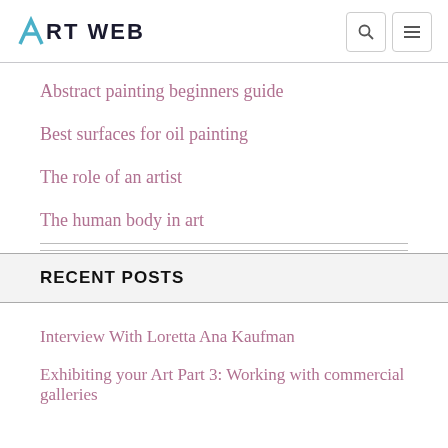ART WEB
Abstract painting beginners guide
Best surfaces for oil painting
The role of an artist
The human body in art
RECENT POSTS
Interview With Loretta Ana Kaufman
Exhibiting your Art Part 3: Working with commercial galleries